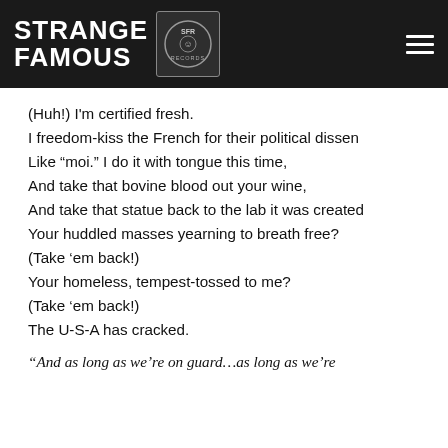Strange Famous Records
(Huh!) I'm certified fresh.
I freedom-kiss the French for their political dissen
Like "moi." I do it with tongue this time,
And take that bovine blood out your wine,
And take that statue back to the lab it was created
Your huddled masses yearning to breath free?
(Take 'em back!)
Your homeless, tempest-tossed to me?
(Take 'em back!)
The U-S-A has cracked.
"And as long as we're on guard...as long as we're